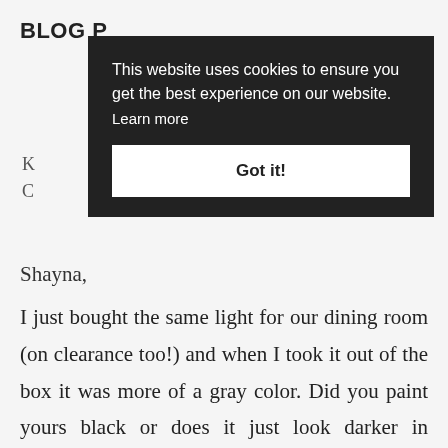BLOG P
K
C
Shayna,
I just bought the same light for our dining room (on clearance too!) and when I took it out of the box it was more of a gray color. Did you paint yours black or does it just look darker in pictures? And how does it look in
person (to you)?
Thanks!
[Figure (screenshot): Cookie consent banner overlay on a dark background with message 'This website uses cookies to ensure you get the best experience on our website. Learn more' and a white 'Got it!' button.]